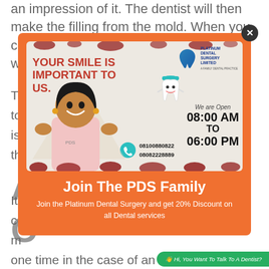an impression of it. The dentist will then make the filling from the mold. When you come back for your next visit, the dentist will...
[Figure (infographic): Platinum Dental Surgery advertisement popup. Orange modal overlay with an ad image showing a smiling woman, headline 'YOUR SMILE IS IMPORTANT TO US.', hours 'We are Open 08:00 AM TO 06:00 PM', phone numbers 08100880822 and 08082228889, Platinum Dental Surgery logo. Below the image: 'Join The PDS Family' and 'Join the Platinum Dental Surgery and get 20% Discount on all Dental services']
one time in the case of an inlay.